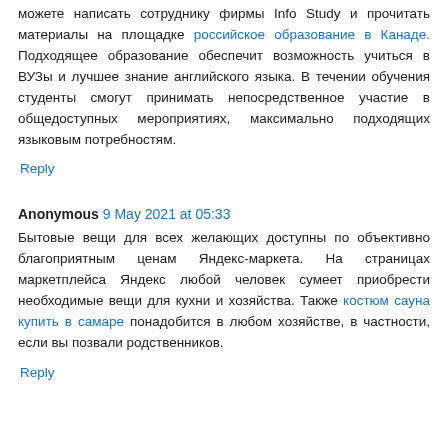можете написать сотруднику фирмы Info Study и прочитать материалы на площадке российское образование в Канаде. Подходящее образование обеспечит возможность учиться в ВУЗы и лучшее знание английского языка. В течении обучения студенты смогут принимать непосредственное участие в общедоступных мероприятиях, максимально подходящих языковым потребностям.
Reply
Anonymous 9 May 2021 at 05:33
Бытовые вещи для всех желающих доступны по объективно благоприятным ценам Яндекс-маркета. На страницах маркетплейса Яндекс любой человек сумеет приобрести необходимые вещи для кухни и хозяйства. Также костюм сауна купить в самаре понадобится в любом хозяйстве, в частности, если вы позвали родственников.
Reply